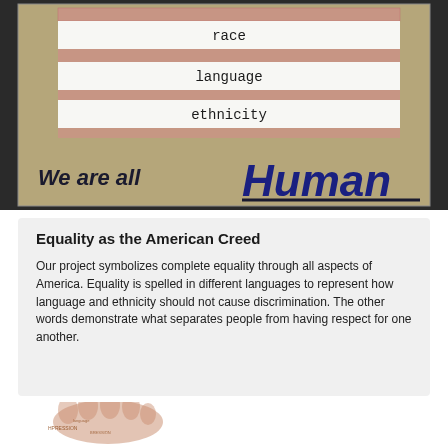[Figure (photo): Photograph of a student poster on tan/olive cardboard background. White paper strips with red pencil horizontal lines are layered, each with a handwritten word: 'race', 'language', 'ethnicity'. At the bottom of the poster in handwritten dark blue letters: 'We are all Human', with 'Human' written larger and bold in blue marker, underlined.]
Equality as the American Creed
Our project symbolizes complete equality through all aspects of America. Equality is spelled in different languages to represent how language and ethnicity should not cause discrimination. The other words demonstrate what separates people from having respect for one another.
[Figure (photo): Partial photograph at bottom of page showing a handprint in brownish-red ink with text written on/around it, partially cut off.]